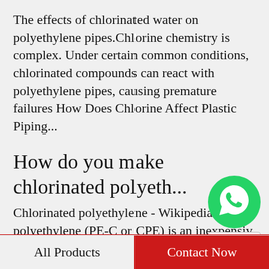The effects of chlorinated water on polyethylene pipes.Chlorine chemistry is complex. Under certain common conditions, chlorinated compounds can react with polyethylene pipes, causing premature failures How Does Chlorine Affect Plastic Piping...
How do you make chlorinated polyeth...
Chlorinated polyethylene - WikipediaChlorinated polyethylene (PE-C or CPE) is an inexpensive variation of polyethylene, where chlorine is substituted for some of the hydrogen atoms. Chlorinated Polyethylene (CPE) Health & EnvironmentChlorinated...
[Figure (illustration): WhatsApp contact button overlay with green circle icon and WhatsApp Online label]
What is chlorinated polyethylene used ...
All Products | Contact Now